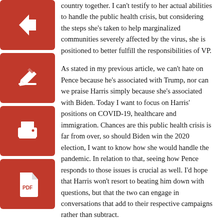[Figure (infographic): Four red square icon buttons stacked vertically on the left side: back arrow, edit/pencil, print, and PDF document icons]
country together. I can't testify to her actual abilities to handle the public health crisis, but considering the steps she's taken to help marginalized communities severely affected by the virus, she is positioned to better fulfill the responsibilities of VP.

As stated in my previous article, we can't hate on Pence because he's associated with Trump, nor can we praise Harris simply because she's associated with Biden. Today I want to focus on Harris' positions on COVID-19, healthcare and immigration. Chances are this public health crisis is far from over, so should Biden win the 2020 election, I want to know how she would handle the pandemic. In relation to that, seeing how Pence responds to those issues is crucial as well. I'd hope that Harris won't resort to beating him down with questions, but that the two can engage in conversations that add to their respective campaigns rather than subtract.

At the very least, I hope that Harris and Pence can actually inform and educate me and other voters, unlike the first presidential debate. This VP debate should be on the radars of every voter, but especially fellow undecided voters — no matter who you're leaning towards or your typical level of political involvement. Debates can give us a great amount of insight into the future of this country and